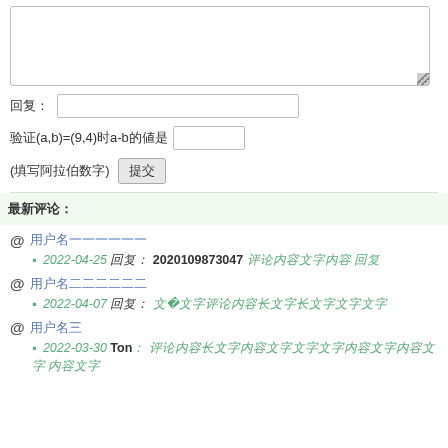[textarea input box]
回复: [text input]
验证(a,b)=(9,4)时a-b的值是 [input] (填写阿拉伯数字) 提交
最新评论:
@ 用户名一（链接）
▪ 2022-04-25 回复: 2020109873047 评论内容文字 回复
@ 用户名二（链接）
▪ 2022-04-07 回复: 文字76文字评论内容长文字
@ 用户名三（链接）
▪ 2022-03-30 Ton: 评论内容长文字 文字